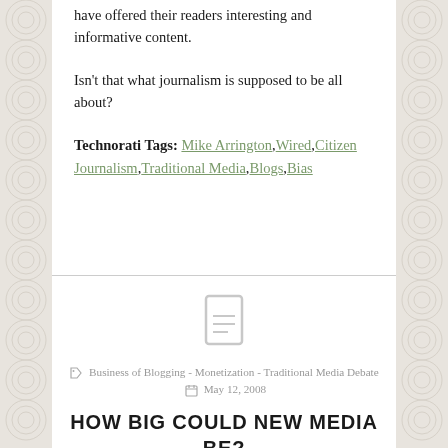have offered their readers interesting and informative content.
Isn't that what journalism is supposed to be all about?
Technorati Tags: Mike Arrington, Wired, Citizen Journalism, Traditional Media, Blogs, Bias
Business of Blogging - Monetization - Traditional Media Debate   May 12, 2008
HOW BIG COULD NEW MEDIA BE?